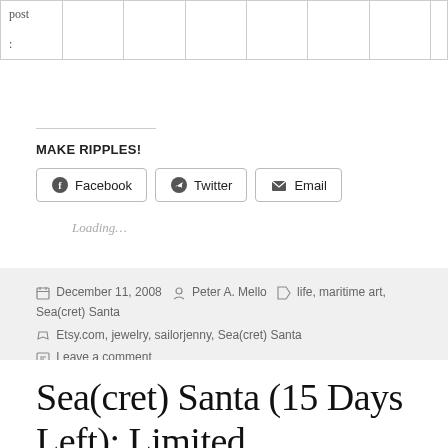| post |  |  |  |  |  |  |  |
|  : |  |  |  |  |  |  |  |
MAKE RIPPLES!
Facebook  Twitter  Email
Loading...
December 11, 2008  Peter A. Mello  life, maritime art, Sea(cret) Santa  Etsy.com, jewelry, sailorjenny, Sea(cret) Santa  Leave a comment
Sea(cret) Santa (15 Days Left): Limited